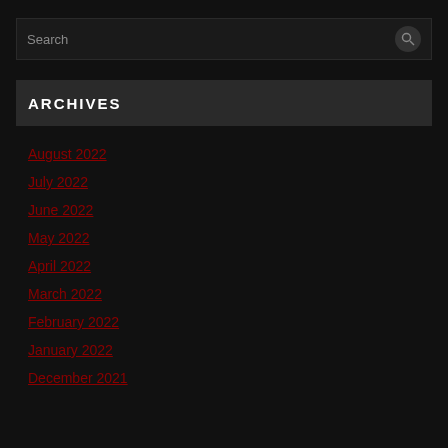Search
ARCHIVES
August 2022
July 2022
June 2022
May 2022
April 2022
March 2022
February 2022
January 2022
December 2021